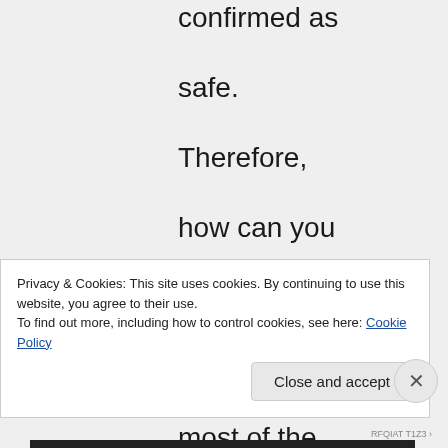confirmed as safe. Therefore, how can you say that they are safe when most of the countries are saying that they are not because they
Privacy & Cookies: This site uses cookies. By continuing to use this website, you agree to their use.
To find out more, including how to control cookies, see here: Cookie Policy
Close and accept